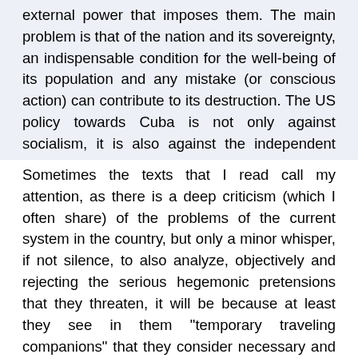external power that imposes them. The main problem is that of the nation and its sovereignty, an indispensable condition for the well-being of its population and any mistake (or conscious action) can contribute to its destruction. The US policy towards Cuba is not only against socialism, it is also against the independent nation.
Sometimes the texts that I read call my attention, as there is a deep criticism (which I often share) of the problems of the current system in the country, but only a minor whisper, if not silence, to also analyze, objectively and rejecting the serious hegemonic pretensions that they threaten, it will be because at least they see in them "temporary traveling companions" that they consider necessary and / or useful to promote what they consider to be their objectives. In my opinion, if this were the case, it is a very dangerous opportunism and perhaps with no